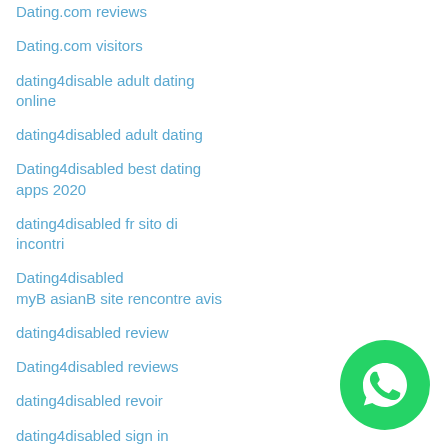Dating.com reviews
Dating.com visitors
dating4disable adult dating online
dating4disabled adult dating
Dating4disabled best dating apps 2020
dating4disabled fr sito di incontri
Dating4disabled myB asianB site rencontre avis
dating4disabled review
Dating4disabled reviews
dating4disabled revoir
dating4disabled sign in
dating4disabled-overzicht adult dating
[Figure (logo): WhatsApp green circle button with phone handset icon]